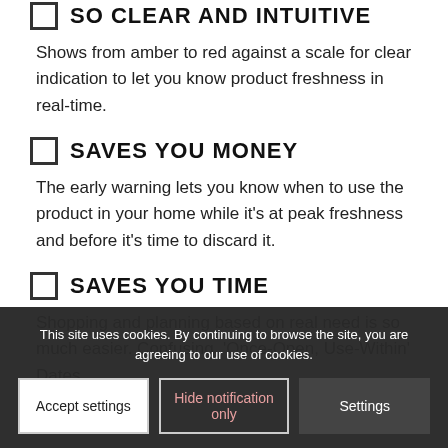SO CLEAR AND INTUITIVE
Shows from amber to red against a scale for clear indication to let you know product freshness in real-time.
SAVES YOU MONEY
The early warning lets you know when to use the product in your home while it's at peak freshness and before it's time to discard it.
SAVES YOU TIME
Shopping and planning based on real need is so much easier. Confusing, 'Once-Open, Use-Within' Dates
This site uses cookies. By continuing to browse the site, you are agreeing to our use of cookies.